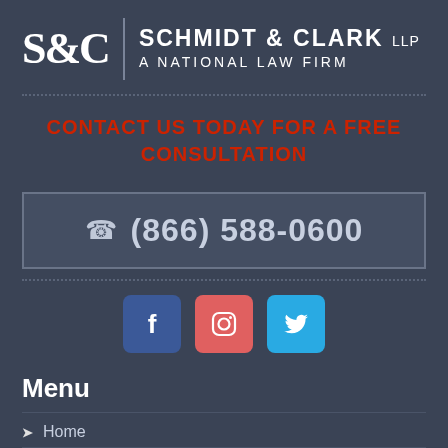[Figure (logo): Schmidt & Clark LLP – A National Law Firm logo with S&C monogram and vertical divider]
CONTACT US TODAY FOR A FREE CONSULTATION
(866) 588-0600
[Figure (infographic): Social media icons: Facebook (blue), Instagram (red/salmon), Twitter (light blue)]
Menu
Home
About the firm